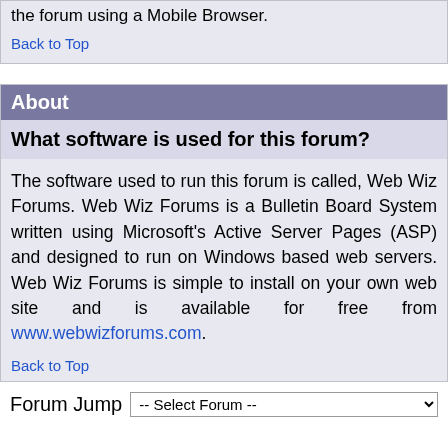the forum using a Mobile Browser.
Back to Top
About
What software is used for this forum?
The software used to run this forum is called, Web Wiz Forums. Web Wiz Forums is a Bulletin Board System written using Microsoft's Active Server Pages (ASP) and designed to run on Windows based web servers. Web Wiz Forums is simple to install on your own web site and is available for free from www.webwizforums.com.
Back to Top
Forum Jump -- Select Forum --